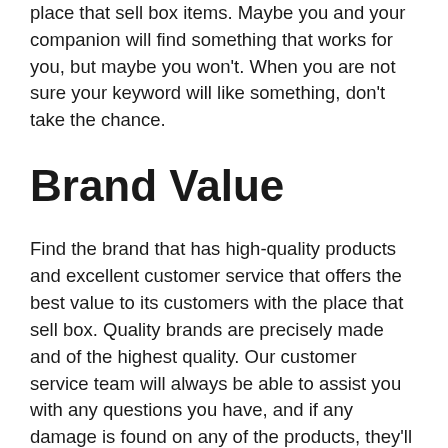place that sell box items. Maybe you and your companion will find something that works for you, but maybe you won't. When you are not sure your keyword will like something, don't take the chance.
Brand Value
Find the brand that has high-quality products and excellent customer service that offers the best value to its customers with the place that sell box. Quality brands are precisely made and of the highest quality. Our customer service team will always be able to assist you with any questions you have, and if any damage is found on any of the products, they'll refund your money.